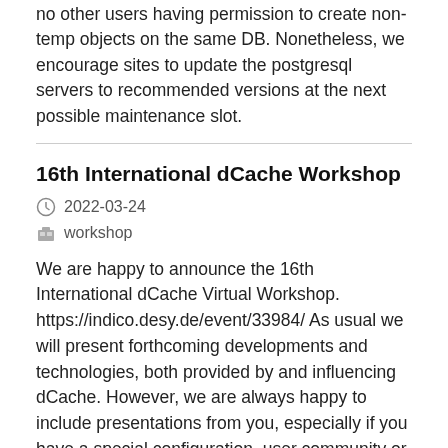no other users having permission to create non-temp objects on the same DB. Nonetheless, we encourage sites to update the postgresql servers to recommended versions at the next possible maintenance slot.
16th International dCache Workshop
2022-03-24
workshop
We are happy to announce the 16th International dCache Virtual Workshop. https://indico.desy.de/event/33984/ As usual we will present forthcoming developments and technologies, both provided by and influencing dCache. However, we are always happy to include presentations from you, especially if you have a special configuration, user community or use case, or experience with new hardware. If you have something to share with us or have an interest in a particular topic - hands up!
Log4j 1.2 Vulnerability